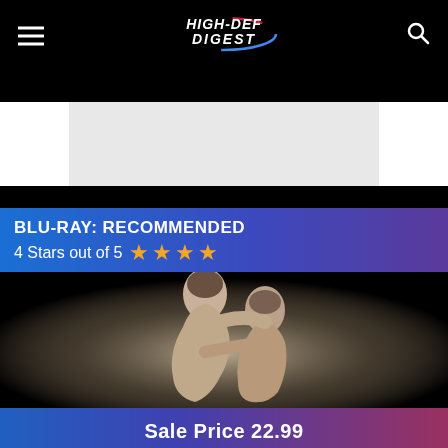High-Def Digest
[Figure (photo): Gray advertisement placeholder banner]
BLU-RAY: RECOMMENDED
4 Stars out of 5 ★★★★
[Figure (photo): Black and white photo of two people embracing romantically]
Sale Price 22.99
Buy Now